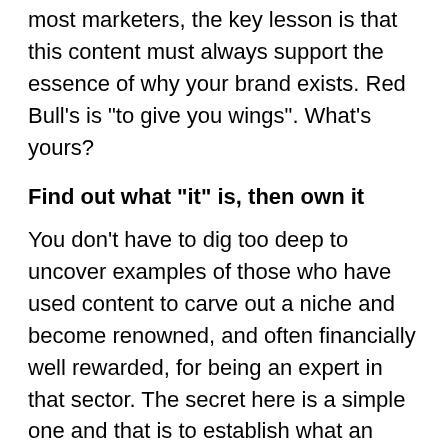most marketers, the key lesson is that this content must always support the essence of why your brand exists. Red Bull's is "to give you wings". What's yours?
Find out what "it" is, then own it
You don't have to dig too deep to uncover examples of those who have used content to carve out a niche and become renowned, and often financially well rewarded, for being an expert in that sector. The secret here is a simple one and that is to establish what an audience wants and then own it by making sure that you address that content no matter what channel(s) you